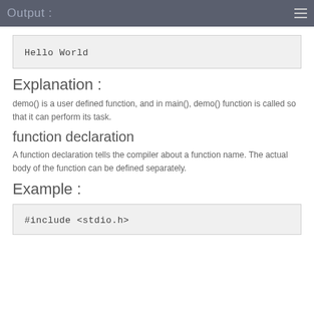Output :
[Figure (screenshot): Code output box showing: Hello World]
Explanation :
demo() is a user defined function, and in main(), demo() function is called so that it can perform its task.
function declaration
A function declaration tells the compiler about a function name. The actual body of the function can be defined separately.
Example :
[Figure (screenshot): Code box showing: #include <stdio.h>]